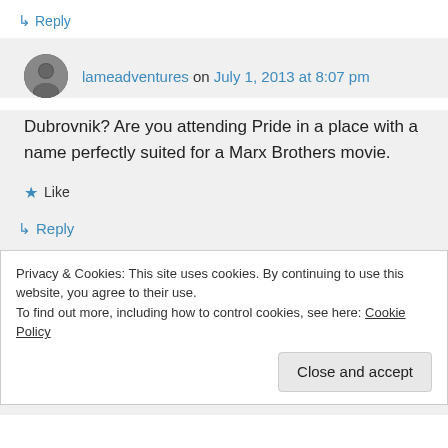↳ Reply
lameadventures on July 1, 2013 at 8:07 pm
Dubrovnik? Are you attending Pride in a place with a name perfectly suited for a Marx Brothers movie.
★ Like
↳ Reply
Privacy & Cookies: This site uses cookies. By continuing to use this website, you agree to their use.
To find out more, including how to control cookies, see here: Cookie Policy
Close and accept